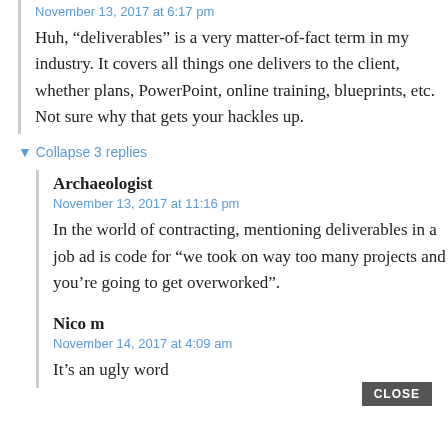November 13, 2017 at 6:17 pm
Huh, “deliverables” is a very matter-of-fact term in my industry. It covers all things one delivers to the client, whether plans, PowerPoint, online training, blueprints, etc. Not sure why that gets your hackles up.
▼ Collapse 3 replies
Archaeologist
November 13, 2017 at 11:16 pm
In the world of contracting, mentioning deliverables in a job ad is code for “we took on way too many projects and you’re going to get overworked”.
Nico m
November 14, 2017 at 4:09 am
It’s an ugly word